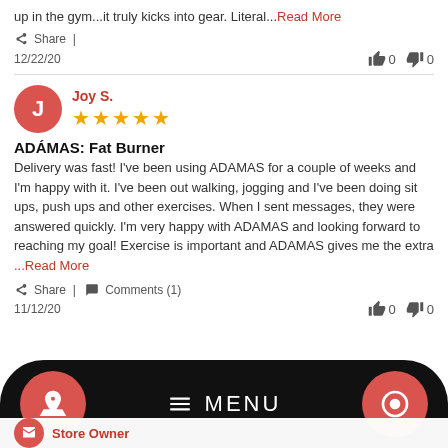up in the gym...it truly kicks into gear. Literal...Read More
Share
12/22/20
Joy S.
ADÁMAS: Fat Burner
Delivery was fast! I've been using ADAMAS for a couple of weeks and I'm happy with it. I've been out walking, jogging and I've been doing sit ups, push ups and other exercises. When I sent messages, they were answered quickly. I'm very happy with ADAMAS and looking forward to reaching my goal! Exercise is important and ADAMAS gives me the extra ...Read More
Share | Comments (1)
11/12/20
Store Owner